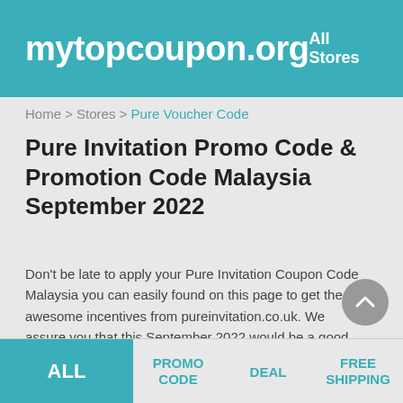mytopcoupon.org — All Stores
Home > Stores > Pure Voucher Code
Pure Invitation Promo Code & Promotion Code Malaysia September 2022
Don't be late to apply your Pure Invitation Coupon Code Malaysia you can easily found on this page to get the awesome incentives from pureinvitation.co.uk. We assure you that this September 2022 would be a good season for you to save up to 10% at pureinvitation.co.uk.
ALL | PROMO CODE | DEAL | FREE SHIPPING